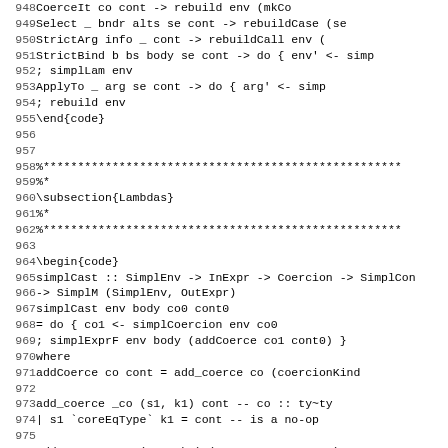Code listing lines 948-979 showing Haskell source code for simplCast and related functions
Lines 958-962: section comment block for Lambdas subsection
Lines 964-979: simplCast function definition with addCoerce and add_coerce helpers